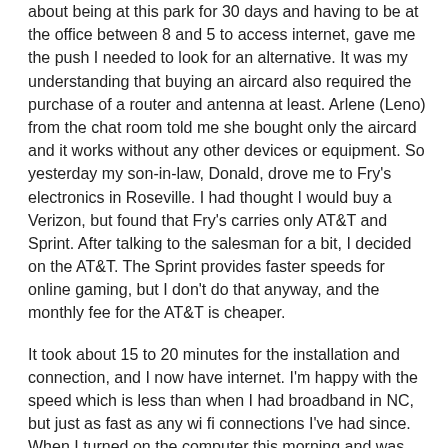about being at this park for 30 days and having to be at the office between 8 and 5 to access internet, gave me the push I needed to look for an alternative. It was my understanding that buying an aircard also required the purchase of a router and antenna at least. Arlene (Leno) from the chat room told me she bought only the aircard and it works without any other devices or equipment. So yesterday my son-in-law, Donald, drove me to Fry's electronics in Roseville. I had thought I would buy a Verizon, but found that Fry's carries only AT&T and Sprint. After talking to the salesman for a bit, I decided on the AT&T. The Sprint provides faster speeds for online gaming, but I don't do that anyway, and the monthly fee for the AT&T is cheaper.
It took about 15 to 20 minutes for the installation and connection, and I now have internet. I'm happy with the speed which is less than when I had broadband in NC, but just as fast as any wi fi connections I've had since. When I turned on the computer this morning and was connected I wanted to cheer.
The salesman was a young kid about my granddaughter's